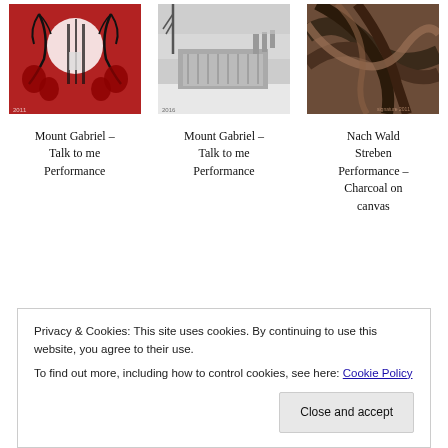[Figure (photo): Red and black digital art image with butterfly/insect motif and architectural elements, circular white moon shape in background]
Mount Gabriel – Talk to me Performance
[Figure (photo): Black and white photograph of a building exterior in winter/snowy conditions]
Mount Gabriel – Talk to me Performance
[Figure (photo): Sepia/dark toned artwork showing abstract wood grain or charcoal texture]
Nach Wald Streben Performance – Charcoal on canvas
Privacy & Cookies: This site uses cookies. By continuing to use this website, you agree to their use.
To find out more, including how to control cookies, see here: Cookie Policy
Close and accept